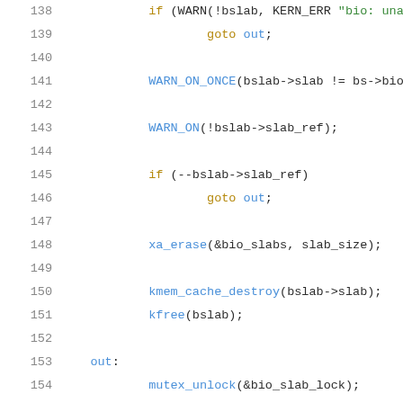[Figure (screenshot): Source code listing showing C kernel code lines 138-159, with syntax highlighting. Keywords in gold/brown, function names in blue, strings in green, line numbers in gray.]